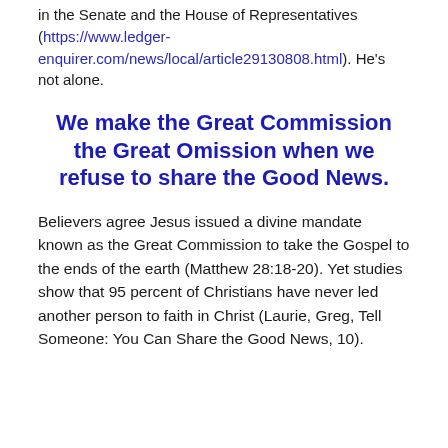in the Senate and the House of Representatives (https://www.ledger-enquirer.com/news/local/article29130808.html). He's not alone.
We make the Great Commission the Great Omission when we refuse to share the Good News.
Believers agree Jesus issued a divine mandate known as the Great Commission to take the Gospel to the ends of the earth (Matthew 28:18-20). Yet studies show that 95 percent of Christians have never led another person to faith in Christ (Laurie, Greg, Tell Someone: You Can Share the Good News, 10).